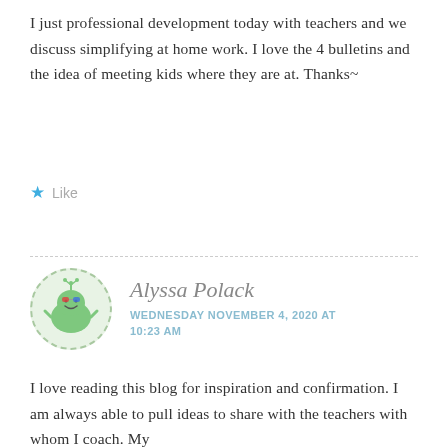I just professional development today with teachers and we discuss simplifying at home work. I love the 4 bulletins and the idea of meeting kids where they are at. Thanks~
★ Like
Alyssa Polack
WEDNESDAY NOVEMBER 4, 2020 AT 10:23 AM
I love reading this blog for inspiration and confirmation. I am always able to pull ideas to share with the teachers with whom I coach. My